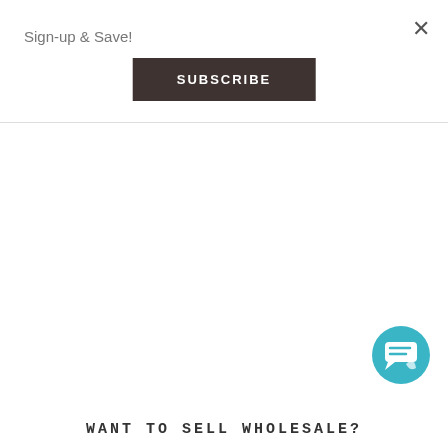×
Sign-up & Save!
SUBSCRIBE
[Figure (illustration): Teal circular chat support bubble icon with speech bubble and leaf/wave design]
WANT TO SELL WHOLESALE?